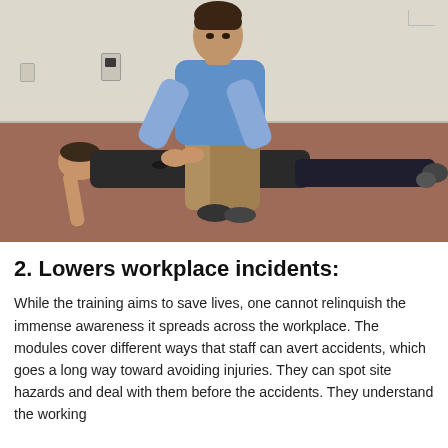[Figure (photo): A man in a blue polo shirt performing CPR chest compressions on a man lying on the floor wearing a dark shirt and dark pants. The setting appears to be an indoor training room with a beige wall and reddish-brown floor.]
2. Lowers workplace incidents:
While the training aims to save lives, one cannot relinquish the immense awareness it spreads across the workplace. The modules cover different ways that staff can avert accidents, which goes a long way toward avoiding injuries. They can spot site hazards and deal with them before the accidents. They understand the working